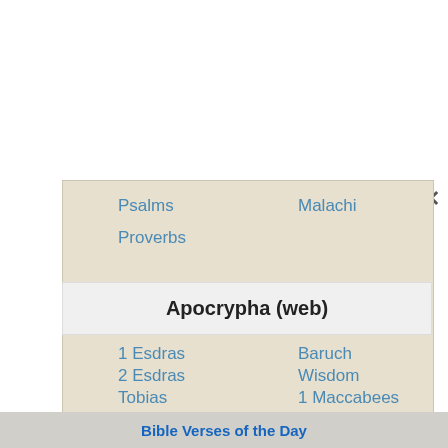Psalms
Malachi
Proverbs
Apocrypha (web)
1 Esdras
Baruch
2 Esdras
Wisdom
Tobias
1 Maccabees
Judith
2 Maccabees
Ecclesiasticus (Sirach)
Bible Verses of the Day